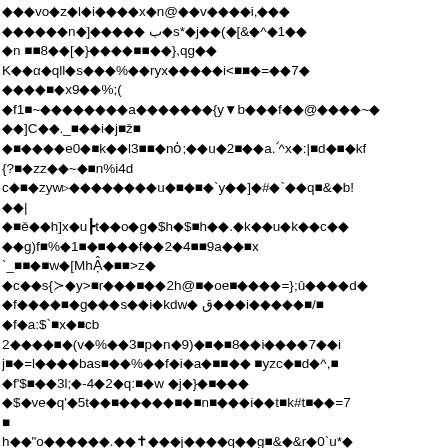Garbled/encoded text content with diamond replacement characters throughout the page — appears to be corrupted or encoded document text with symbols, letters, numbers and special characters interspersed with black diamond replacement characters.